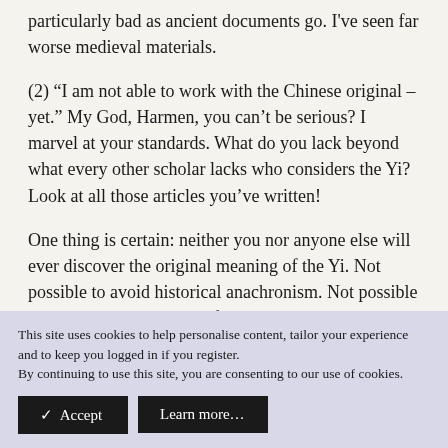particularly bad as ancient documents go. I've seen far worse medieval materials.
(2) “I am not able to work with the Chinese original – yet.” My God, Harmen, you can’t be serious? I marvel at your standards. What do you lack beyond what every other scholar lacks who considers the Yi? Look at all those articles you’ve written!
One thing is certain: neither you nor anyone else will ever discover the original meaning of the Yi. Not possible to avoid historical anachronism. Not possible to reconstruct the world of 3000 years ago with any degree of certainty. And what if you could? Would the
This site uses cookies to help personalise content, tailor your experience and to keep you logged in if you register.
By continuing to use this site, you are consenting to our use of cookies.
✓ Accept
Learn more…